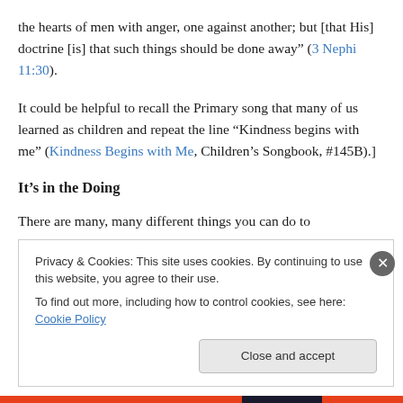the hearts of men with anger, one against another; but [that His] doctrine [is] that such things should be done away” (3 Nephi 11:30).
It could be helpful to recall the Primary song that many of us learned as children and repeat the line “Kindness begins with me” (Kindness Begins with Me, Children’s Songbook, #145B).]
It’s in the Doing
There are many, many different things you can do to
Privacy & Cookies: This site uses cookies. By continuing to use this website, you agree to their use.
To find out more, including how to control cookies, see here: Cookie Policy